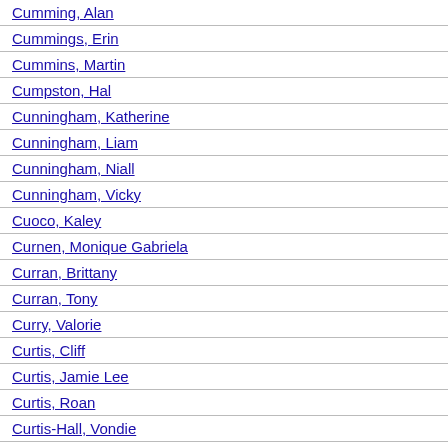Cumming, Alan
Cummings, Erin
Cummins, Martin
Cumpston, Hal
Cunningham, Katherine
Cunningham, Liam
Cunningham, Niall
Cunningham, Vicky
Cuoco, Kaley
Curnen, Monique Gabriela
Curran, Brittany
Curran, Tony
Curry, Valorie
Curtis, Cliff
Curtis, Jamie Lee
Curtis, Roan
Curtis-Hall, Vondie
Cusack, Ann
Cusack, Joan
Cusack, John
Cuso, Carlton